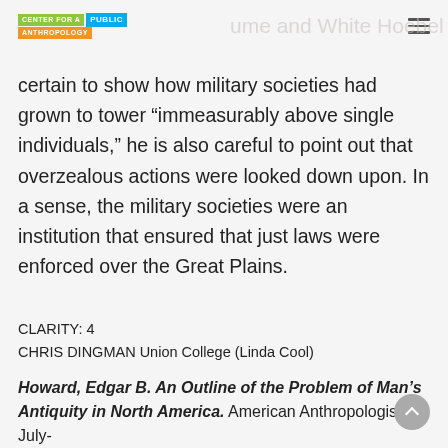Center for a Public Anthropology
certain to show how military societies had grown to tower “immeasurably above single individuals,” he is also careful to point out that overzealous actions were looked down upon. In a sense, the military societies were an institution that ensured that just laws were enforced over the Great Plains.
CLARITY: 4
CHRIS DINGMAN Union College (Linda Cool)
Howard, Edgar B. An Outline of the Problem of Man’s Antiquity in North America. American Anthropologist July-